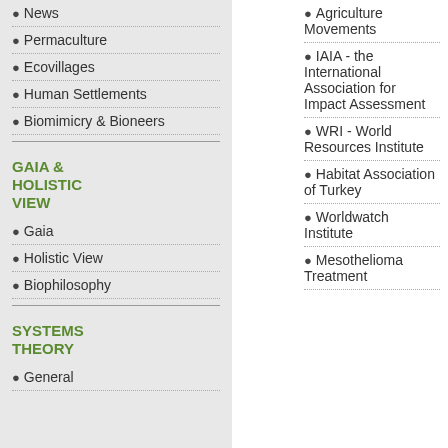News
Permaculture
Ecovillages
Human Settlements
Biomimicry & Bioneers
GAIA & HOLISTIC VIEW
Gaia
Holistic View
Biophilosophy
SYSTEMS THEORY
General
Agriculture Movements
IAIA - the International Association for Impact Assessment
WRI - World Resources Institute
Habitat Association of Turkey
Worldwatch Institute
Mesothelioma Treatment